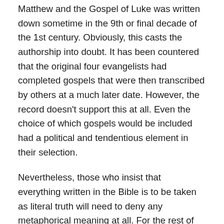Matthew and the Gospel of Luke was written down sometime in the 9th or final decade of the 1st century. Obviously, this casts the authorship into doubt. It has been countered that the original four evangelists had completed gospels that were then transcribed by others at a much later date. However, the record doesn't support this at all. Even the choice of which gospels would be included had a political and tendentious element in their selection.
Nevertheless, those who insist that everything written in the Bible is to be taken as literal truth will need to deny any metaphorical meaning at all. For the rest of us, we are free to consider the possibility that some passages or stories in the Bible are powerfully metaphorical and that metaphor and elaboration can add to the power of the truth being told, even if it had no actual historical existence. It does not seem out of place here to mention that the modern